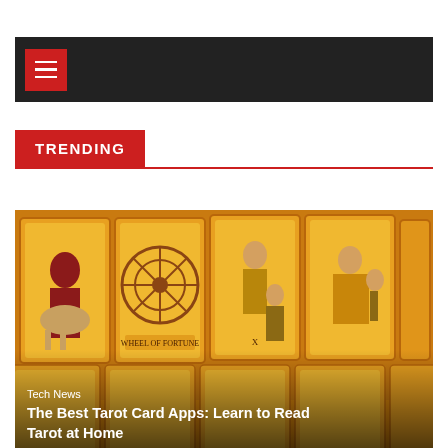Navigation bar with hamburger menu
TRENDING
[Figure (photo): Spread of colorful tarot cards featuring illustrated figures in orange, red and gold tones, including characters on horseback and circular mandala-like designs]
Tech News
The Best Tarot Card Apps: Learn to Read Tarot at Home